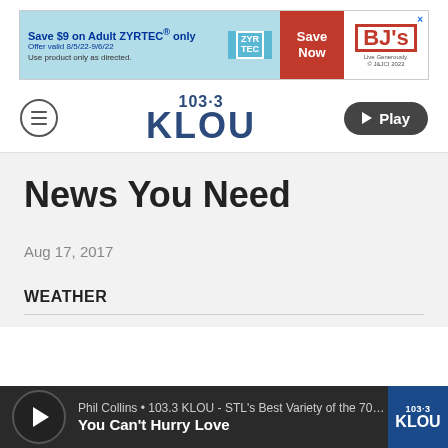[Figure (other): Advertisement banner for Zyrtec at BJ's. Text: Save $9 on Adult ZYRTEC® only. Offer valid 8/5/22-9/6/22. Use product only as directed. Save Now. BJ's Live Generously. © J&JCI 2022.]
[Figure (logo): 103.3 KLOU radio station logo with hamburger menu icon on left and Play button on right]
News You Need
Aug 17, 2017
WEATHER
Phil Collins • 103.3 KLOU - STL's Best Variety of the 70… You Can't Hurry Love